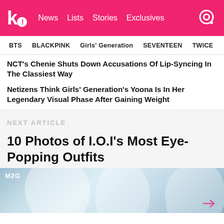k! News Lists Stories Exclusives
BTS BLACKPINK Girls' Generation SEVENTEEN TWICE
NCT's Cherie Shuts Down Accusations Of Lip-Syncing In The Classiest Way
Netizens Think Girls' Generation's Yoona Is In Her Legendary Visual Phase After Gaining Weight
NEXT ARTICLE
10 Photos of I.O.I's Most Eye-Popping Outfits
[Figure (photo): Blurred blue/white stage photo background with M2G watermark in top left corner and a small arrow icon in bottom right]